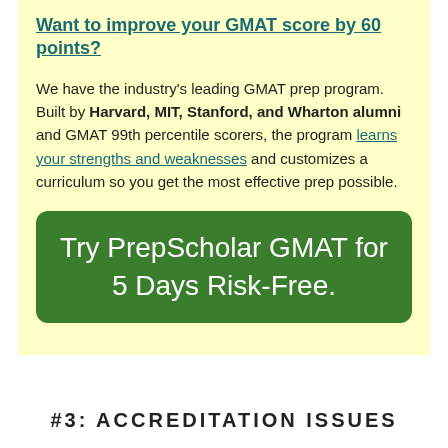Want to improve your GMAT score by 60 points?
We have the industry's leading GMAT prep program. Built by Harvard, MIT, Stanford, and Wharton alumni and GMAT 99th percentile scorers, the program learns your strengths and weaknesses and customizes a curriculum so you get the most effective prep possible.
[Figure (other): Green button reading 'Try PrepScholar GMAT for 5 Days Risk-Free.']
#3: ACCREDITATION ISSUES